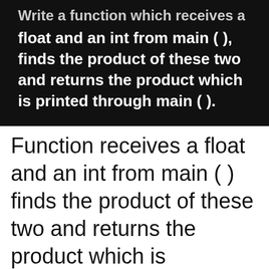[Figure (screenshot): Dark background screenshot showing programming exercise text: 'Write a function which receives a float and an int from main ( ), finds the product of these two and returns the product which is printed through main ( ).']
Function receives a float and an int from main ( ) finds the product of these two and returns the product which is